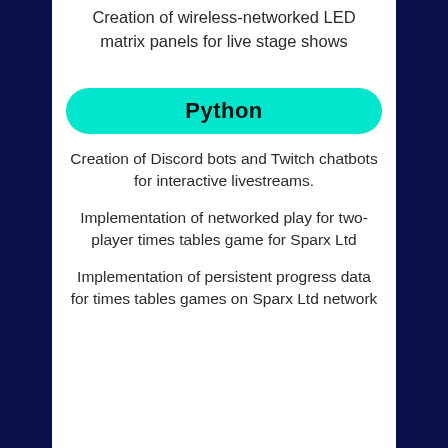Creation of wireless-networked LED matrix panels for live stage shows
Python
Creation of Discord bots and Twitch chatbots for interactive livestreams.
Implementation of networked play for two-player times tables game for Sparx Ltd
Implementation of persistent progress data for times tables games on Sparx Ltd network